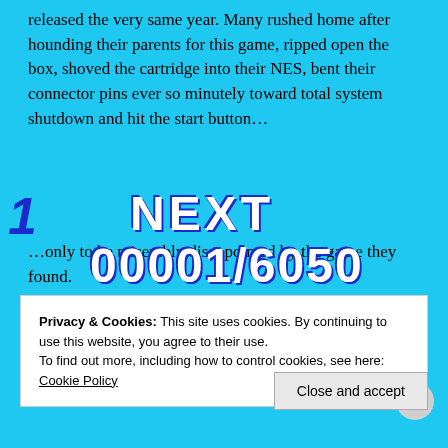released the very same year. Many rushed home after hounding their parents for this game, ripped open the box, shoved the cartridge into their NES, bent their connector pins ever so minutely toward total system shutdown and hit the start button…
[Figure (screenshot): Game overlay showing '1 NEXT' and score '00001/6050' in bold blue/white text on cyan background]
…only to be miserably disappointed by the game they found.
While the internet raves about the 1989 NES game's good reception and commercial success, I can't help
Privacy & Cookies: This site uses cookies. By continuing to use this website, you agree to their use.
To find out more, including how to control cookies, see here: Cookie Policy
Close and accept